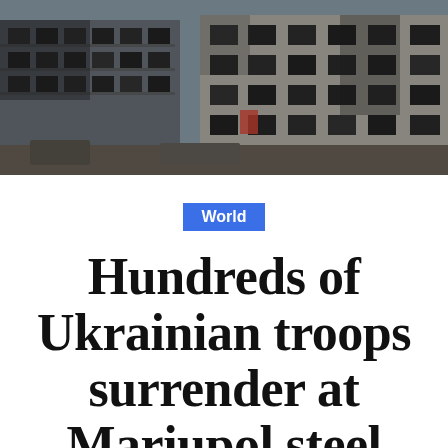[Figure (photo): Photograph of heavily damaged and burned apartment buildings, showing destroyed windows, charred facades, and structural damage consistent with war-time destruction in Mariupol, Ukraine]
World
Hundreds of Ukrainian troops surrender at Mariupol steel